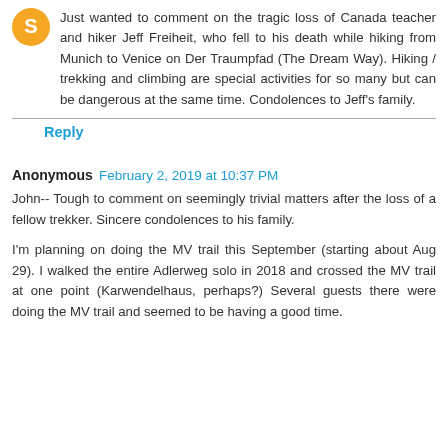[Figure (illustration): Orange circular avatar/user icon]
Just wanted to comment on the tragic loss of Canada teacher and hiker Jeff Freiheit, who fell to his death while hiking from Munich to Venice on Der Traumpfad (The Dream Way). Hiking / trekking and climbing are special activities for so many but can be dangerous at the same time. Condolences to Jeff's family.
Reply
Anonymous February 2, 2019 at 10:37 PM
John-- Tough to comment on seemingly trivial matters after the loss of a fellow trekker. Sincere condolences to his family.
I'm planning on doing the MV trail this September (starting about Aug 29). I walked the entire Adlerweg solo in 2018 and crossed the MV trail at one point (Karwendelhaus, perhaps?) Several guests there were doing the MV trail and seemed to be having a good time.